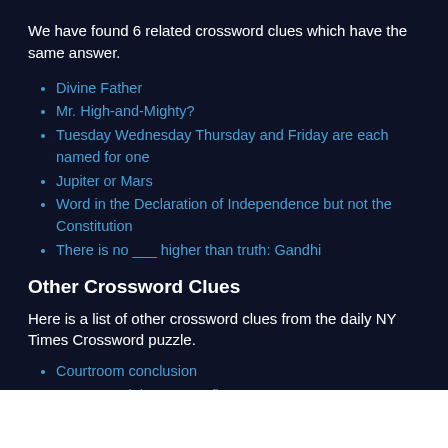We have found 6 related crossword clues which have the same answer.
Divine Father
Mr. High-and-Mighty?
Tuesday Wednesday Thursday and Friday are each named for one
Jupiter or Mars
Word in the Declaration of Independence but not the Constitution
There is no ___ higher than truth: Gandhi
Other Crossword Clues
Here is a list of other crossword clues from the daily NY Times Crossword puzzle.
Courtroom conclusion
How you might count to five
Olympic skater Midori
Hold up